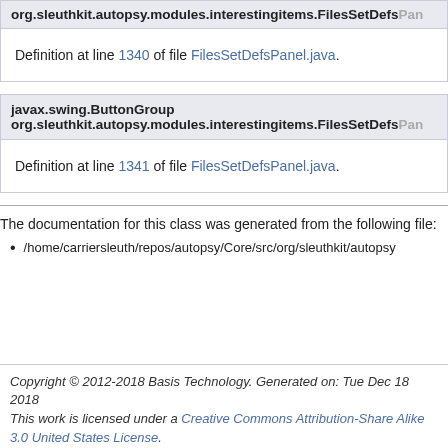org.sleuthkit.autopsy.modules.interestingitems.FilesSetDefsPanel
Definition at line 1340 of file FilesSetDefsPanel.java.
javax.swing.ButtonGroup
org.sleuthkit.autopsy.modules.interestingitems.FilesSetDefsPanel
Definition at line 1341 of file FilesSetDefsPanel.java.
The documentation for this class was generated from the following file:
/home/carriersleuth/repos/autopsy/Core/src/org/sleuthkit/autopsy
Copyright © 2012-2018 Basis Technology. Generated on: Tue Dec 18 2018
This work is licensed under a Creative Commons Attribution-Share Alike 3.0 United States License.